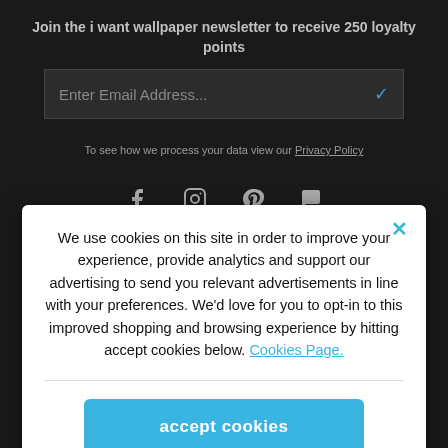Join the i want wallpaper newsletter to receive 250 loyalty points
Enter Email Address...
To see how we process your data view our Privacy Policy
[Figure (other): Social media icons: Facebook, Instagram, Pinterest, Chat]
We use cookies on this site in order to improve your experience, provide analytics and support our advertising to send you relevant advertisements in line with your preferences. We'd love for you to opt-in to this improved shopping and browsing experience by hitting accept cookies below. Cookies Page.
accept cookies